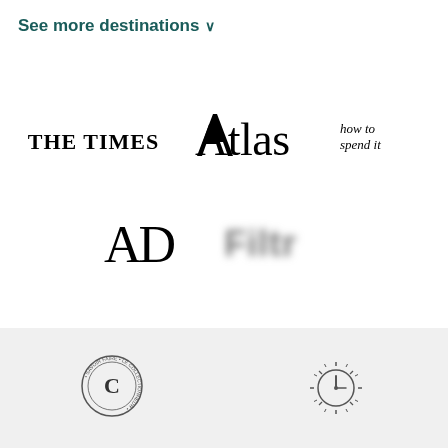See more destinations ∨
[Figure (logo): THE TIMES logo in bold serif font]
[Figure (logo): Atlas logo in stylized serif font]
[Figure (logo): how to spend it logo in italic serif]
[Figure (logo): AD (Architectural Digest) logo in large serif font]
[Figure (logo): Blurred/redacted logo]
[Figure (logo): Circular stamp logo with C in center and text around ring]
[Figure (illustration): Clock/timer icon with radiating lines]